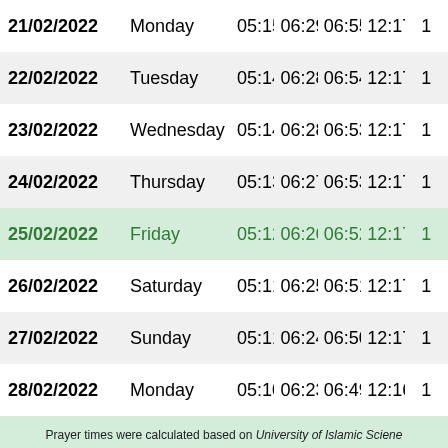| Date | Day | Col3 | Col4 | Col5 | Col6 | Col7 |
| --- | --- | --- | --- | --- | --- | --- |
| 21/02/2022 | Monday | 05:15 | 06:29 | 06:55 | 12:17 | 1 |
| 22/02/2022 | Tuesday | 05:14 | 06:28 | 06:54 | 12:17 | 1 |
| 23/02/2022 | Wednesday | 05:14 | 06:28 | 06:53 | 12:17 | 1 |
| 24/02/2022 | Thursday | 05:13 | 06:27 | 06:53 | 12:17 | 1 |
| 25/02/2022 | Friday | 05:12 | 06:26 | 06:52 | 12:17 | 1 |
| 26/02/2022 | Saturday | 05:11 | 06:25 | 06:51 | 12:17 | 1 |
| 27/02/2022 | Sunday | 05:11 | 06:24 | 06:50 | 12:17 | 1 |
| 28/02/2022 | Monday | 05:10 | 06:23 | 06:49 | 12:16 | 1 |
Prayer times were calculated based on University of Islamic Sciene... Qibla Hour is the time when the sun is at the direction of Qibla (Makkah) or... Prepared by: Alhabib - Coloring with Islam - www.al-...
Other Monthly Prayer Timetables for Tangail - Year 2022 AD
January 2022 | February 2022 | March 2022 | April 2022 | May 2022 | June 2022 | July 2022 | August 2022 | September 2022 | October 2022 | November 2022 | December 2022